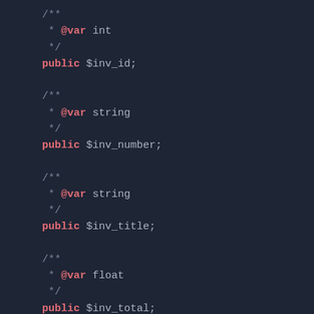/**
 * @var int
 */
public $inv_id;

/**
 * @var string
 */
public $inv_number;

/**
 * @var string
 */
public $inv_title;

/**
 * @var float
 */
public $inv_total;

public function beforeCreate()
{